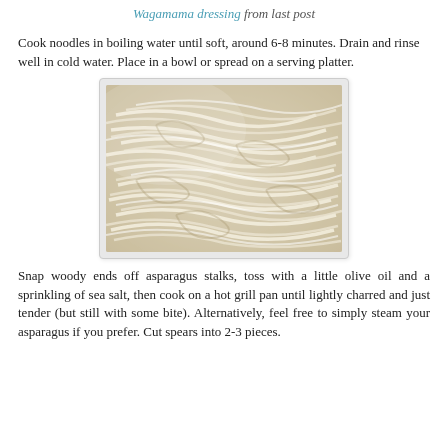Wagamama dressing from last post
Cook noodles in boiling water until soft, around 6-8 minutes. Drain and rinse well in cold water. Place in a bowl or spread on a serving platter.
[Figure (photo): Close-up photo of cooked white rice noodles in a bowl, drained and rinsed, appearing soft and translucent.]
Snap woody ends off asparagus stalks, toss with a little olive oil and a sprinkling of sea salt, then cook on a hot grill pan until lightly charred and just tender (but still with some bite). Alternatively, feel free to simply steam your asparagus if you prefer. Cut spears into 2-3 pieces.